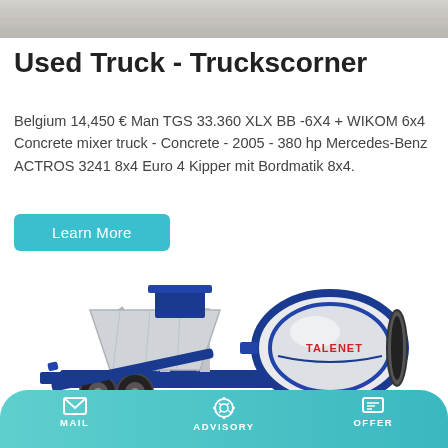[Figure (photo): Grayscale/concrete truck photo banner at top of page]
Used Truck - Truckscorner
Belgium 14,450 € Man TGS 33.360 XLX BB -6X4 + WIKOM 6x4 Concrete mixer truck - Concrete - 2005 - 380 hp Mercedes-Benz ACTROS 3241 8x4 Euro 4 Kipper mit Bordmatik 8x4.
[Figure (illustration): Blue and white mobile concrete mixer plant with drum labeled TALENET, on wheeled trailer frame]
MAIL   ADVISORY   OFFER